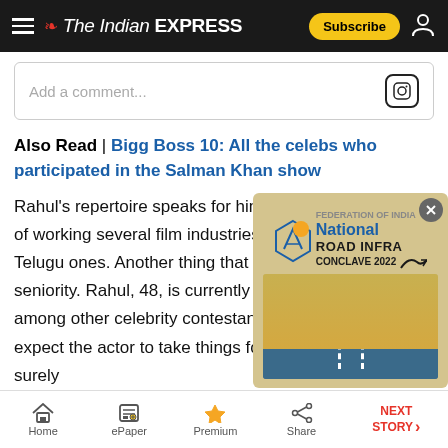The Indian EXPRESS
Add a comment...
Also Read | Bigg Boss 10: All the celebs who participated in the Salman Khan show
Rahul's repertoire speaks for him. His has of working several film industries includin Telugu ones. Another thing that can come seniority. Rahul, 48, is currently the most e among other celebrity contestants. While one can not expect the actor to take things for granted, one can surely bank on him for strategizing and manipulating other
[Figure (screenshot): National Road Infra Conclave 2022 advertisement overlay]
Home | ePaper | Premium | Share | NEXT STORY